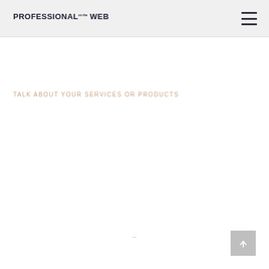PROFESSIONAL on the WEB
Talk about your services or products
[Figure (other): Back to top button with upward arrow icon]